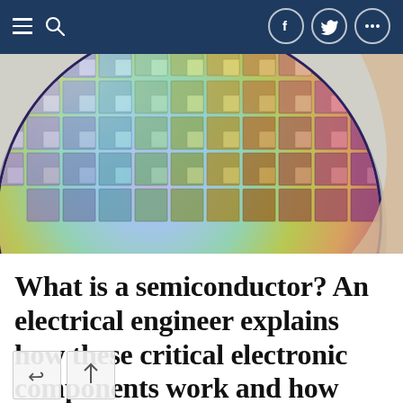Navigation bar with menu, search, Facebook, Twitter, and more options
[Figure (photo): Close-up photograph of a silicon semiconductor wafer showing a circular disc with rows of colorful iridescent microchip dies arranged in a grid pattern, photographed against a light background.]
What is a semiconductor? An electrical engineer explains how these critical electronic components work and how they are made